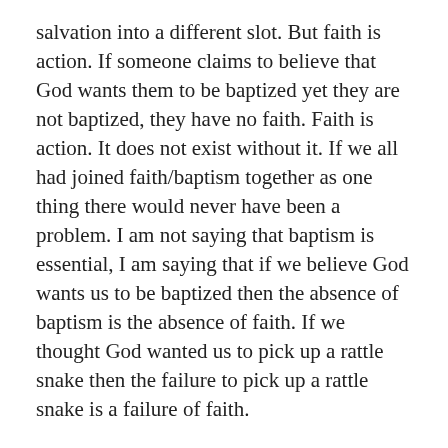salvation into a different slot. But faith is action. If someone claims to believe that God wants them to be baptized yet they are not baptized, they have no faith. Faith is action. It does not exist without it. If we all had joined faith/baptism together as one thing there would never have been a problem. I am not saying that baptism is essential, I am saying that if we believe God wants us to be baptized then the absence of baptism is the absence of faith. If we thought God wanted us to pick up a rattle snake then the failure to pick up a rattle snake is a failure of faith.
Of course, Paul is the one that went down the wrong path on this and has left Christendom confused ever since. If someone thinks God wants them to be circumcised then failure to be circumcised is a lack of faith. It does not result in a falling from grace. Paul might have been right that God did not require circumcision but he was not right about there being something such